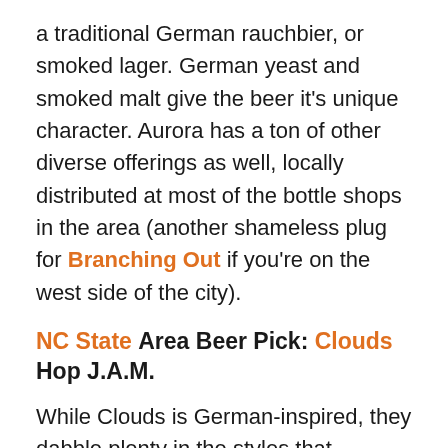a traditional German rauchbier, or smoked lager. German yeast and smoked malt give the beer it's unique character. Aurora has a ton of other diverse offerings as well, locally distributed at most of the bottle shops in the area (another shameless plug for Branching Out if you're on the west side of the city).
NC State Area Beer Pick: Clouds Hop J.A.M.
While Clouds is German-inspired, they dabble plenty in the styles that Americans are well accustomed to. Hop J.A.M. is an IPA double dry-hopped with Jarrylo, Amarillo, and Mosaic hops, and bringing with that plenty of fruity tasting notes you'd come to expect with that. Rather than bitterness, it's a more mild drink that floods your nose with tropical aromas. Even if you're potentially reaching for something to warm you up this